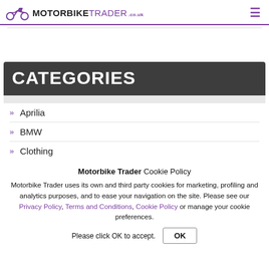MOTORBIKE TRADER .co.uk
CATEGORIES
» Aprilia
» BMW
» Clothing
Motorbike Trader Cookie Policy
Motorbike Trader uses its own and third party cookies for marketing, profiling and analytics purposes, and to ease your navigation on the site. Please see our Privacy Policy, Terms and Conditions, Cookie Policy or manage your cookie preferences.
Please click OK to accept.